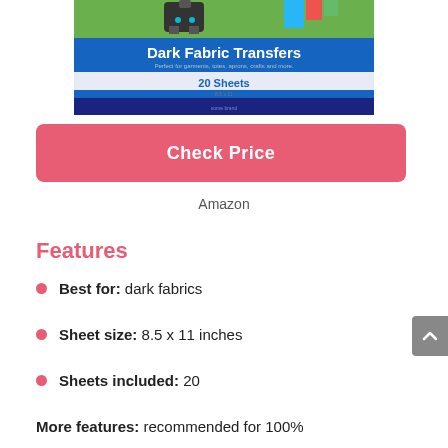[Figure (photo): Product image of Dark Fabric Transfers box, 20 Sheets, shown at top of page, partially cropped]
Check Price
Amazon
Features
Best for: dark fabrics
Sheet size: 8.5 x 11 inches
Sheets included: 20
More features: recommended for 100%